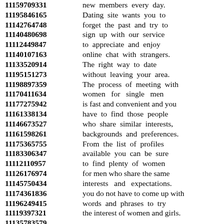11159709331 new members every day.
11195846165 Dating site wants you to
11142764748 forget the past and try to
11140480698 sign up with our service
11112449847 to appreciate and enjoy
11140107163 online chat with strangers.
11133520914 The right way to date
11195151273 without leaving your area.
11198897359 The process of meeting with
11170411634 women for single men
11177275942 is fast and convenient and you
11161338134 have to find those people
11146673527 who share similar interests,
11161598261 backgrounds and preferences.
11175365755 From the list of profiles
11183306347 available you can be sure
11112110957 to find plenty of women
11126176974 for men who share the same
11145750434 interests and expectations.
11174361836 you do not have to come up with
11196249415 words and phrases to try
11119397321 the interest of women and girls.
11135783579
11125366191 You will make incredible
11128474379 connections with the people
11118377178 ...